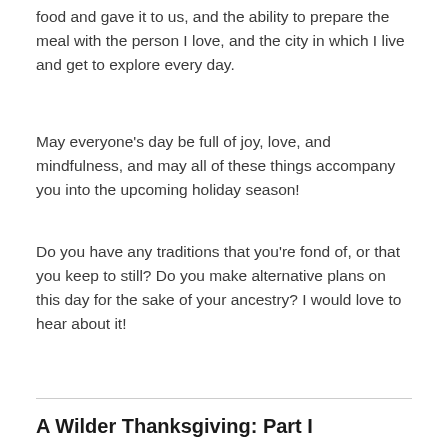food and gave it to us, and the ability to prepare the meal with the person I love, and the city in which I live and get to explore every day.
May everyone's day be full of joy, love, and mindfulness, and may all of these things accompany you into the upcoming holiday season!
Do you have any traditions that you're fond of, or that you keep to still? Do you make alternative plans on this day for the sake of your ancestry? I would love to hear about it!
A Wilder Thanksgiving: Part I